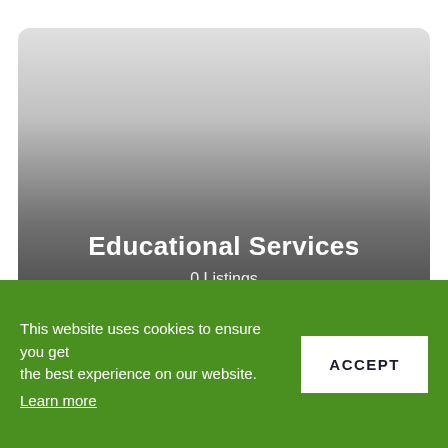[Figure (illustration): A card with a dark-to-light gray gradient background and rounded corners containing the title 'Educational Services' and subtitle '0 Listings' in white text.]
Educational Services
0 Listings
This website uses cookies to ensure you get the best experience on our website.
Learn more
ACCEPT